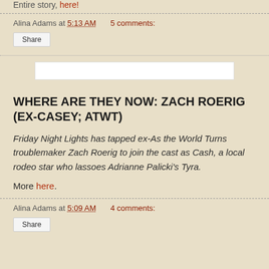Entire story, here!
Alina Adams at 5:13 AM   5 comments:
Share
[Figure (other): White advertisement banner placeholder]
WHERE ARE THEY NOW: ZACH ROERIG (EX-CASEY; ATWT)
Friday Night Lights has tapped ex-As the World Turns troublemaker Zach Roerig to join the cast as Cash, a local rodeo star who lassoes Adrianne Palicki’s Tyra.
More here.
Alina Adams at 5:09 AM   4 comments:
Share